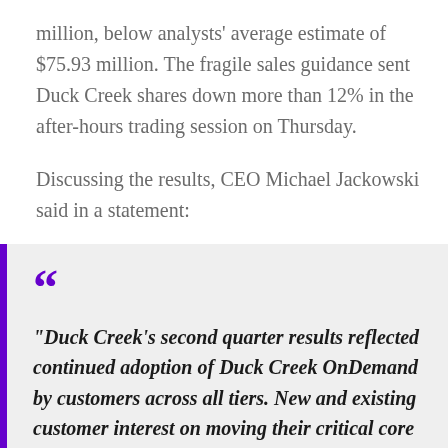million, below analysts' average estimate of $75.93 million. The fragile sales guidance sent Duck Creek shares down more than 12% in the after-hours trading session on Thursday.
Discussing the results, CEO Michael Jackowski said in a statement:
“Duck Creek’s second quarter results reflected continued adoption of Duck Creek OnDemand by customers across all tiers. New and existing customer interest on moving their critical core systems to the cloud remains very strong and is viewed as essential to